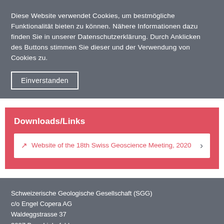Diese Website verwendet Cookies, um bestmögliche Funktionalität bieten zu können. Nähere Informationen dazu finden Sie in unserer Datenschutzerklärung. Durch Anklicken des Buttons stimmen Sie dieser und der Verwendung von Cookies zu.
Einverstanden
Downloads/Links
Website of the 18th Swiss Geoscience Meeting, 2020
Schweizerische Geologische Gesellschaft (SGG)
c/o Engel Copera AG
Waldeggstrasse 37
3097 Bern-Liebefeld